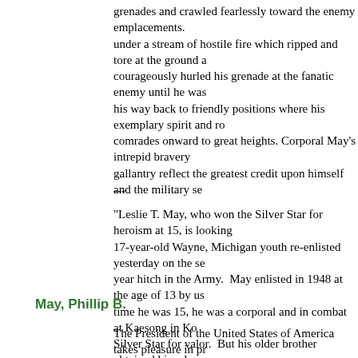grenades and crawled fearlessly toward the enemy emplacements. under a stream of hostile fire which ripped and tore at the ground a courageously hurled his grenade at the fanatic enemy until he was his way back to friendly positions where his exemplary spirit and ro comrades onward to great heights. Corporal May's intrepid bravery gallantry reflect the greatest credit upon himself and the military se
---
"Leslie T. May, who won the Silver Star for heroism at 15, is looking 17-year-old Wayne, Michigan youth re-enlisted yesterday on the se year hitch in the Army. May enlisted in 1948 at the age of 13 by us time he was 15, he was a corporal and in combat at Kaesong in Ko Silver Star for valor. But his older brother obtained his release a ye since. When he reached the legal recruiting age of 17 last month Republican-Herald (MN) - 18 December 1951
May, Phillip B.
The President of the United States of America takes pleasure in pr Colonel Phillip B. May (MCSN: 0-6680), United States Marine Corp intrepidity while serving as Commanding Officer of a Marine Attack enemy. On 16 February 1952 he led his squadron on a six-plane c First Marine Division against the enemy. Palomino TWO, an airborn controller directed the flight to the target which was a concentratio enemy troops near the village of Munsan, Korea. With complete di three reconnaissance runs at dangerously low altitudes and throug positively the positions of enemy and friendly forces. On one of the damaged in the right wing by enemy anti-aircraft fire; however, he and led them in a series of napalm, bombing and strafing runs, sco